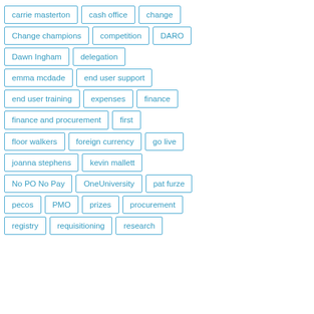carrie masterton
cash office
change
Change champions
competition
DARO
Dawn Ingham
delegation
emma mcdade
end user support
end user training
expenses
finance
finance and procurement
first
floor walkers
foreign currency
go live
joanna stephens
kevin mallett
No PO No Pay
OneUniversity
pat furze
pecos
PMO
prizes
procurement
registry
requisitioning
research